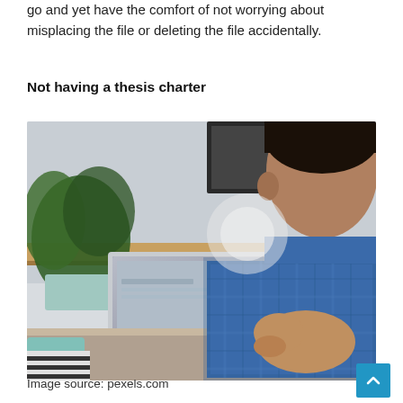go and yet have the comfort of not worrying about misplacing the file or deleting the file accidentally.
Not having a thesis charter
[Figure (photo): A man in a blue checkered shirt writing in a notebook at a desk with a laptop and plant in the background]
Image source: pexels.com